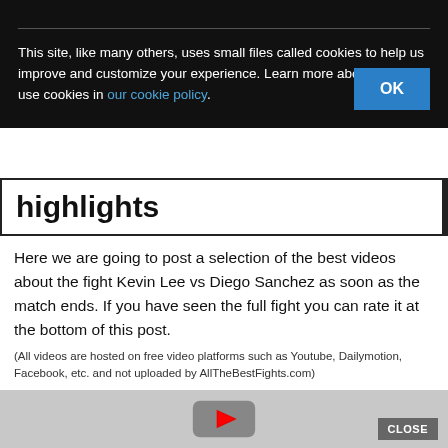This site, like many others, uses small files called cookies to help us improve and customize your experience. Learn more about how we use cookies in our cookie policy.
highlights
Here we are going to post a selection of the best videos about the fight Kevin Lee vs Diego Sanchez as soon as the match ends. If you have seen the full fight you can rate it at the bottom of this post.
(All videos are hosted on free video platforms such as Youtube, Dailymotion, Facebook, etc. and not uploaded by AllTheBestFights.com)
[Figure (screenshot): YouTube video player thumbnail with play button and CLOSE button in lower right]